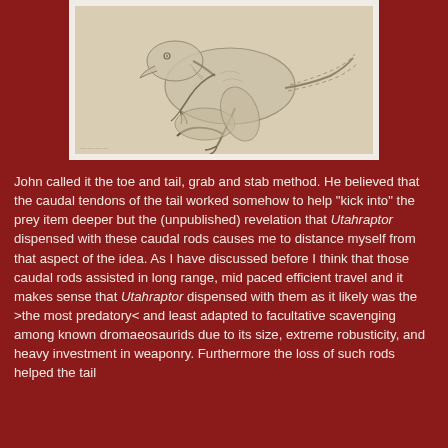[Figure (illustration): Pencil sketch illustration of a raptor dinosaur (dromaeosaurid) in a dynamic predatory pose, showing the animal grabbing prey with claws and using its tail, drawn in a naturalistic scientific illustration style on cream/tan paper background.]
John called it the toe and tail, grab and stab method. He believed that the caudal tendons of the tail worked somehow to help "kick into" the prey item deeper but the (unpublished) revelation that Utahraptor dispensed with these caudal rods causes me to distance myself from that aspect of the idea. As I have discussed before I think that those caudal rods assisted in long range, mid paced efficient travel and it makes sense that Utahraptor dispensed with them as it likely was the >the most predatory< and least adapted to facultative scavenging among known dromaeosaurids due to its size, extreme robusticity, and heavy investment in weaponry. Furthermore the loss of such rods helped the tail inflexibility as it would be the dinosaur to have a domination